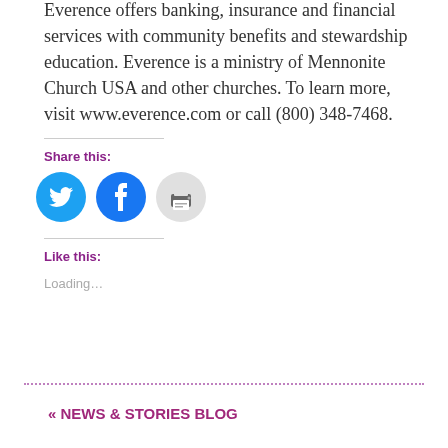Everence offers banking, insurance and financial services with community benefits and stewardship education. Everence is a ministry of Mennonite Church USA and other churches. To learn more, visit www.everence.com or call (800) 348-7468.
Share this:
[Figure (illustration): Three circular social sharing icons: Twitter (blue with bird icon), Facebook (blue with 'f' icon), and Print (gray with printer icon)]
Like this:
Loading...
« NEWS & STORIES BLOG